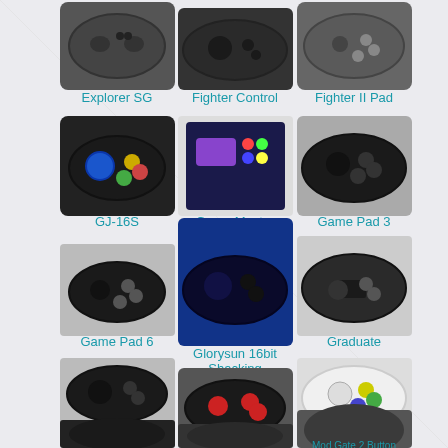[Figure (photo): Grid of game controllers with labels. Row 1: Explorer SG, Fighter Control, Fighter II Pad. Row 2: GJ-16S, Game Master, Game Pad 3. Row 3: Game Pad 6, Glorysun 16bit Shacking, Graduate. Row 4: High Frequency Control Pad, Invader 3, Jet Fighter. Row 5 (partial): unlabeled, unlabeled, Mod Gate 2 Button (partial).]